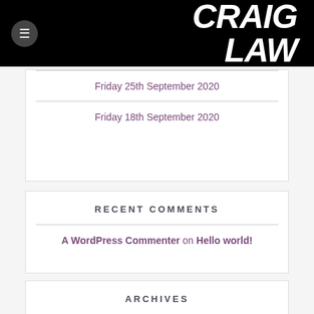CRAIG LAW
Friday 25th September 2020
Friday 18th September 2020
RECENT COMMENTS
A WordPress Commenter on Hello world!
ARCHIVES
October 2020
September 2020